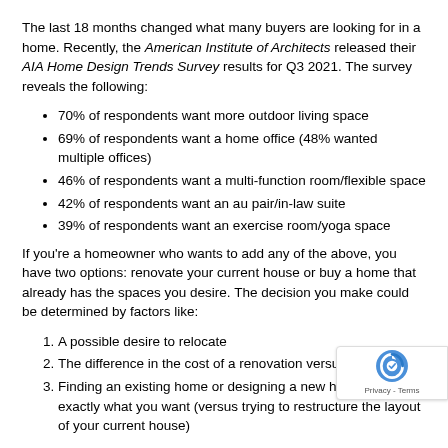The last 18 months changed what many buyers are looking for in a home. Recently, the American Institute of Architects released their AIA Home Design Trends Survey results for Q3 2021. The survey reveals the following:
70% of respondents want more outdoor living space
69% of respondents want a home office (48% wanted multiple offices)
46% of respondents want a multi-function room/flexible space
42% of respondents want an au pair/in-law suite
39% of respondents want an exercise room/yoga space
If you're a homeowner who wants to add any of the above, you have two options: renovate your current house or buy a home that already has the spaces you desire. The decision you make could be determined by factors like:
A possible desire to relocate
The difference in the cost of a renovation versus a purchase
Finding an existing home or designing a new home that has exactly what you want (versus trying to restructure the layout of your current house)
In either case, you'll need access to capital: the funds for the renovation or the down payment your next home would require. The great news is that